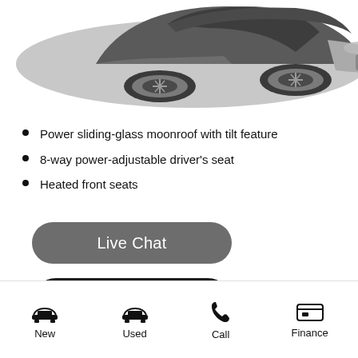[Figure (photo): Partial view of a dark grey/silver SUV or crossover vehicle, showing the front hood, windshield, and passenger side from above, on a white background.]
Power sliding-glass moonroof with tilt feature
8-way power-adjustable driver's seat
Heated front seats
[Figure (screenshot): Live Chat button - rounded pill-shaped grey button with white text 'Live Chat']
[Figure (screenshot): Dark rounded pill button with white chat/phone icon]
S... /700²
New
Used
Call
Finance